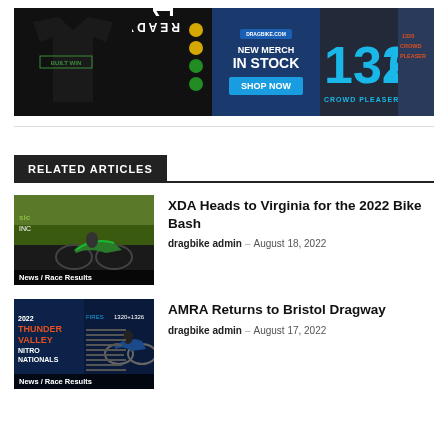[Figure (photo): Banner advertisement for Dragbike merchandise: shows black t-shirts with '1320 Ready' and '1326 Crowd Pleaser' designs, center panel reads 'NEW MERCH IN STOCK SHOP NOW' with Dragbike logo]
RELATED ARTICLES
[Figure (photo): Thumbnail of motorcycle drag racing at track, with green track surface visible. Label: News / Race Results]
XDA Heads to Virginia for the 2022 Bike Bash
dragbike admin - August 18, 2022
[Figure (photo): Thumbnail of Thunder Valley Nitro Nationals event poster with motorcycle racer. Label: News / Race Results]
AMRA Returns to Bristol Dragway
dragbike admin - August 17, 2022